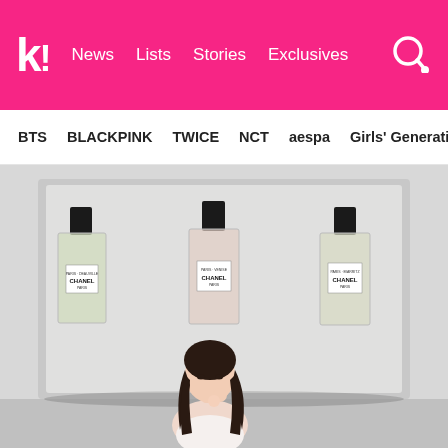k! News Lists Stories Exclusives
BTS BLACKPINK TWICE NCT aespa Girls' Generation
[Figure (photo): A young woman with long dark hair, wearing a white outfit, poses in front of three large Chanel Paris perfume bottles displayed against a light gray background. The three perfume bottles have clear/light-colored liquid inside with black caps and white CHANEL PARIS labels.]